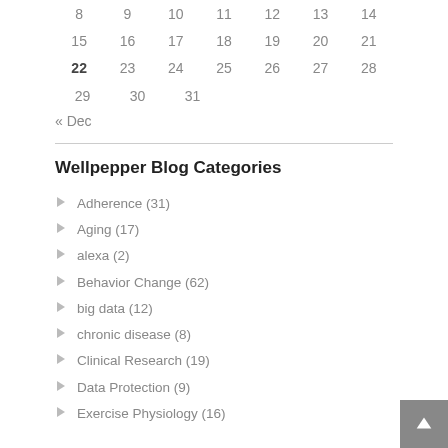| 8 | 9 | 10 | 11 | 12 | 13 | 14 |
| 15 | 16 | 17 | 18 | 19 | 20 | 21 |
| 22 | 23 | 24 | 25 | 26 | 27 | 28 |
| 29 | 30 | 31 |  |  |  |  |
« Dec
Wellpepper Blog Categories
Adherence (31)
Aging (17)
alexa (2)
Behavior Change (62)
big data (12)
chronic disease (8)
Clinical Research (19)
Data Protection (9)
Exercise Physiology (16)